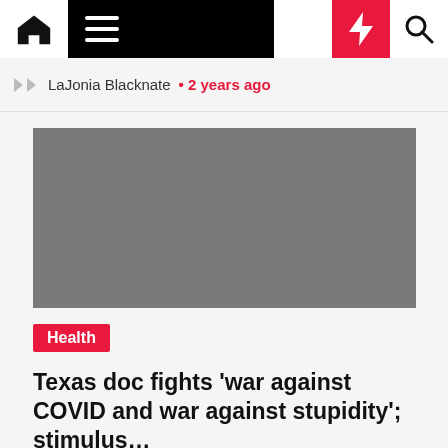Navigation bar with home, menu, dark mode, lightning, and search icons
LaJonia Blacknate • 2 years ago
[Figure (photo): Gray placeholder image for article]
Health
Texas doc fights 'war against COVID and war against stupidity'; stimulus...